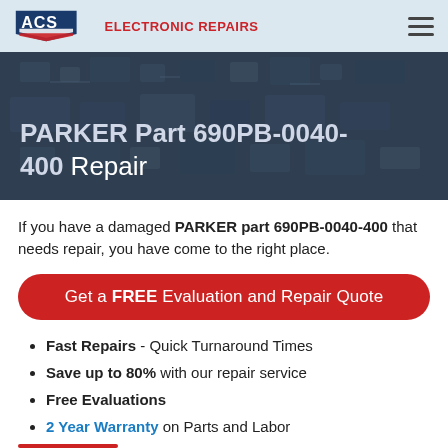ACS ELECTRONIC REPAIRS
[Figure (screenshot): Hero banner with circuit board background image and overlay text: PARKER Part 690PB-0040-400 Repair]
PARKER Part 690PB-0040-400 Repair
If you have a damaged PARKER part 690PB-0040-400 that needs repair, you have come to the right place.
Get a FREE Evaluation and Repair Quote
Fast Repairs - Quick Turnaround Times
Save up to 80% with our repair service
Free Evaluations
2 Year Warranty on Parts and Labor